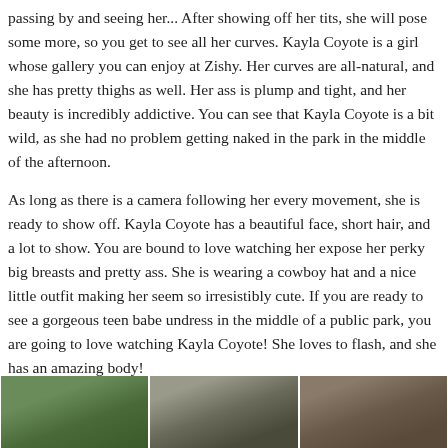passing by and seeing her... After showing off her tits, she will pose some more, so you get to see all her curves. Kayla Coyote is a girl whose gallery you can enjoy at Zishy. Her curves are all-natural, and she has pretty thighs as well. Her ass is plump and tight, and her beauty is incredibly addictive. You can see that Kayla Coyote is a bit wild, as she had no problem getting naked in the park in the middle of the afternoon.
As long as there is a camera following her every movement, she is ready to show off. Kayla Coyote has a beautiful face, short hair, and a lot to show. You are bound to love watching her expose her perky big breasts and pretty ass. She is wearing a cowboy hat and a nice little outfit making her seem so irresistibly cute. If you are ready to see a gorgeous teen babe undress in the middle of a public park, you are going to love watching Kayla Coyote! She loves to flash, and she has an amazing body!
[Figure (photo): Three thumbnail photos at the bottom of the page showing outdoor scenes with vegetation and a person]